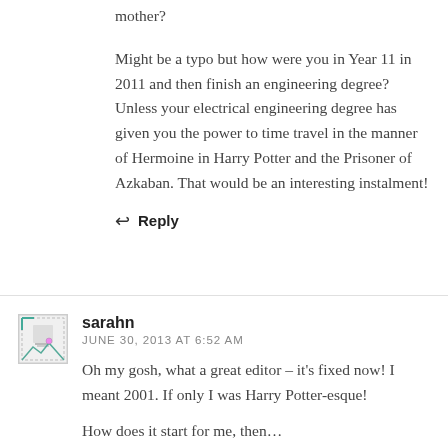mother?
Might be a typo but how were you in Year 11 in 2011 and then finish an engineering degree? Unless your electrical engineering degree has given you the power to time travel in the manner of Hermoine in Harry Potter and the Prisoner of Azkaban. That would be an interesting instalment!
↩ Reply
sarahn
JUNE 30, 2013 AT 6:52 AM
Oh my gosh, what a great editor – it's fixed now! I meant 2001. If only I was Harry Potter-esque!
How does it start for me, then…